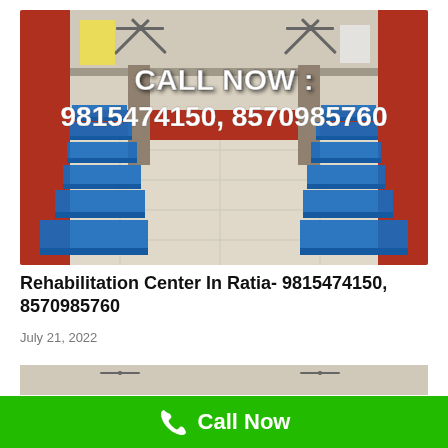[Figure (photo): Interior of a rehabilitation center dormitory room with rows of blue-sheeted beds on both sides, red walls, white tiled floor, ceiling fans, and overlaid text showing call numbers.]
Rehabilitation Center In Ratia- 9815474150, 8570985760
July 21, 2022
[Figure (photo): Partial view of another room interior with ceiling fans visible.]
Call Now